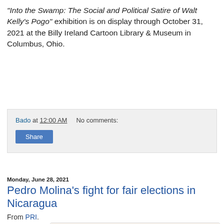"Into the Swamp: The Social and Political Satire of Walt Kelly's Pogo" exhibition is on display through October 31, 2021 at the Billy Ireland Cartoon Library & Museum in Columbus, Ohio.
Bado at 12:00 AM   No comments:
Share
Monday, June 28, 2021
Pedro Molina's fight for fair elections in Nicaragua
From PRI.
[Figure (illustration): Editorial cartoon with red banner reading 'THE ELECTORAL RACE IN NICARAGUA...' and a fenced box structure with track lanes leading into it, simulating a rigged race.]